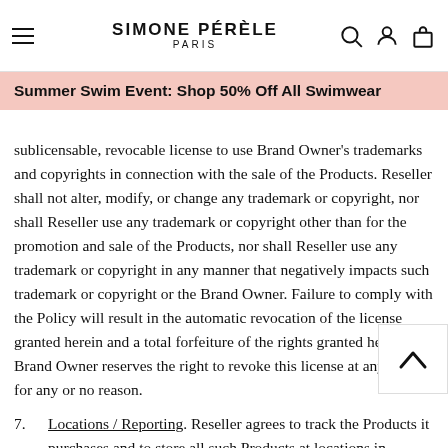SIMONE PÉRÈLE PARIS
Summer Swim Event: Shop 50% Off All Swimwear
6. Trademarks, Copyrights. Resellers that comply with
sublicensable, revocable license to use Brand Owner's trademarks and copyrights in connection with the sale of the Products. Reseller shall not alter, modify, or change any trademark or copyright, nor shall Reseller use any trademark or copyright other than for the promotion and sale of the Products, nor shall Reseller use any trademark or copyright in any manner that negatively impacts such trademark or copyright or the Brand Owner. Failure to comply with the Policy will result in the automatic revocation of the license granted herein and a total forfeiture of the rights granted herein. Brand Owner reserves the right to revoke this license at any time for any or no reason.
7. Locations / Reporting. Reseller agrees to track the Products it purchases and to store all such Products at locations in compliance with this Policy. At Brand Owner's request, Reseller will provide Brand Owner with (a) a list of all storage locations utilized by